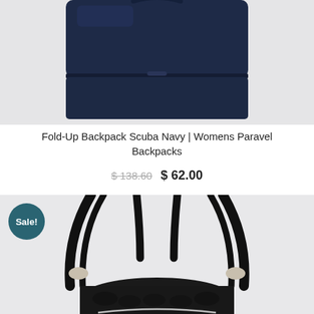[Figure (photo): Top portion of a navy blue fold-up backpack on a light grey background, showing the top zipper and body of the bag]
Fold-Up Backpack Scuba Navy | Womens Paravel Backpacks
$ 138.60  $ 62.00
[Figure (photo): Black leather backpack with ruched bottom and metal clasps, shown from front on grey background, with straps visible]